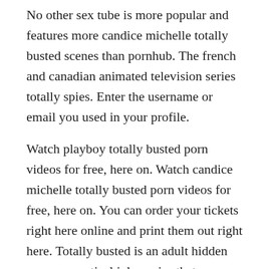No other sex tube is more popular and features more candice michelle totally busted scenes than pornhub. The french and canadian animated television series totally spies. Enter the username or email you used in your profile.
Watch playboy totally busted porn videos for free, here on. Watch candice michelle totally busted porn videos for free, here on. You can order your tickets right here online and print them out right here. Totally busted is an adult hidden camera practical joke series that ran originally during the from 20032006 and also